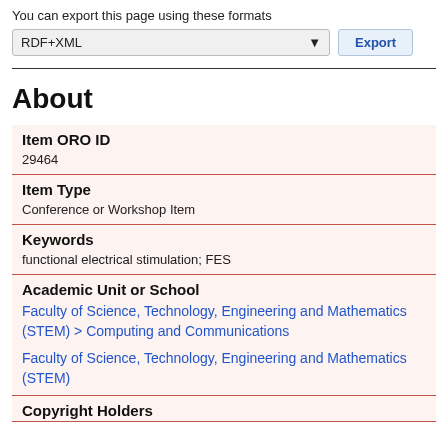You can export this page using these formats
RDF+XML  Export
About
| Field | Value |
| --- | --- |
| Item ORO ID | 29464 |
| Item Type | Conference or Workshop Item |
| Keywords | functional electrical stimulation; FES |
| Academic Unit or School | Faculty of Science, Technology, Engineering and Mathematics (STEM) > Computing and Communications
Faculty of Science, Technology, Engineering and Mathematics (STEM) |
| Copyright Holders |  |